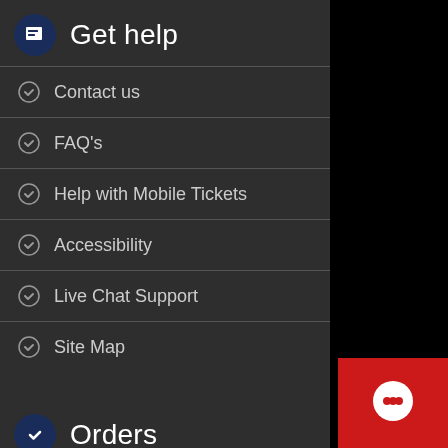Get help
Contact us
FAQ's
Help with Mobile Tickets
Accessibility
Live Chat Support
Site Map
Orders
Check Order Status
Reservation Terms & Conditions
[Figure (illustration): Red chat support button with speech bubble icon in bottom right corner]